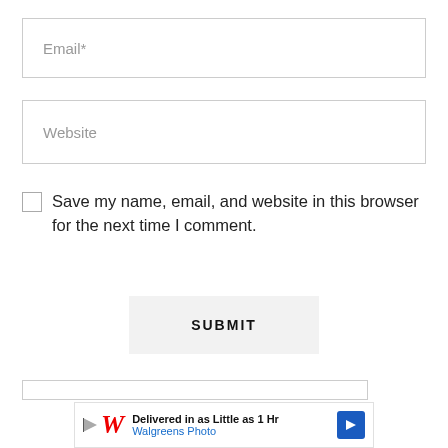Email*
Website
Save my name, email, and website in this browser for the next time I comment.
SUBMIT
[Figure (screenshot): Walgreens Photo advertisement banner: 'Delivered in as Little as 1 Hr' with Walgreens logo and navigation arrow icon]